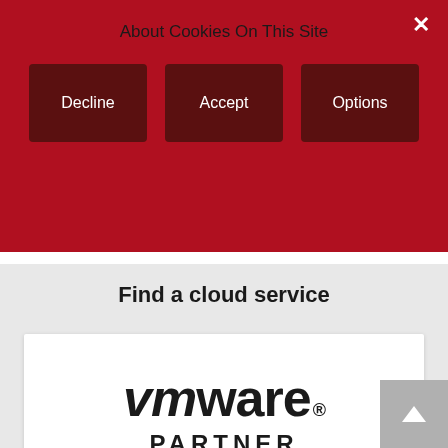About Cookies On This Site
Decline
Accept
Options
Find a cloud service
[Figure (logo): VMware Partner Enterprise Solution Provider logo on white card background]